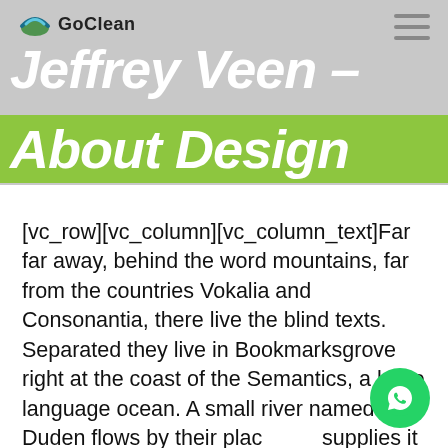GoClean
Jeffrey Veen – About Design
[vc_row][vc_column][vc_column_text]Far far away, behind the word mountains, far from the countries Vokalia and Consonantia, there live the blind texts. Separated they live in Bookmarksgrove right at the coast of the Semantics, a large language ocean. A small river named Duden flows by their place and supplies it with the necessary regelialia a paradisematic country, in which roasted parts of sentences fly into your mouth. Even